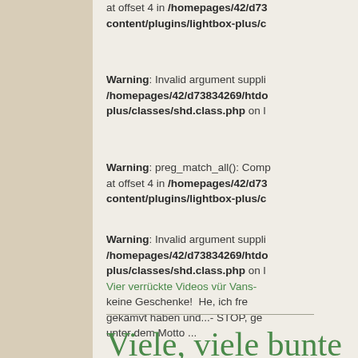at offset 4 in /homepages/42/d73 content/plugins/lightbox-plus/c
Warning: Invalid argument suppli /homepages/42/d73834269/htdo plus/classes/shd.class.php on l
Warning: preg_match_all(): Comp at offset 4 in /homepages/42/d73 content/plugins/lightbox-plus/c
Warning: Invalid argument suppli /homepages/42/d73834269/htdo plus/classes/shd.class.php on l Vier verrückte Videos vür Vans- keine Geschenke! He, ich fre gekämvt haben und...- STOP, ge unter dem Motto ...
Viele, viele bunte